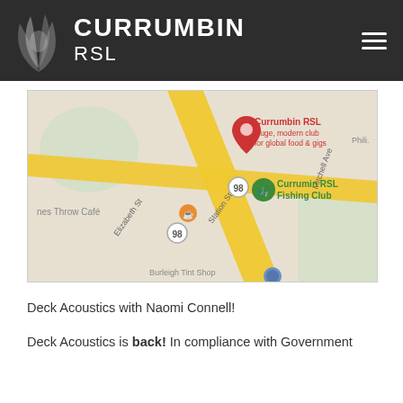CURRUMBIN RSL
[Figure (map): Google Maps screenshot showing Currumbin RSL location with red map pin labeled 'Currumbin RSL - Huge, modern club for global food & gigs', green pin for 'Currumin RSL Fishing Club', orange pin for 'nes Throw Cafe', roads including Elizabeth St, Station St, Mitchell Ave, and a road numbered 98, and partial text 'Burleigh Tint Shop']
Deck Acoustics with Naomi Connell!
Deck Acoustics is back! In compliance with Government